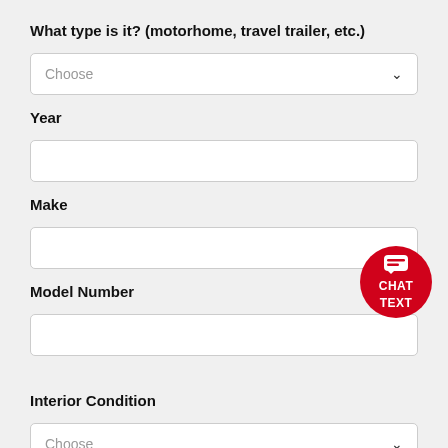What type is it? (motorhome, travel trailer, etc.)
[Figure (screenshot): Dropdown select field with placeholder 'Choose']
Year
[Figure (screenshot): Empty text input field for Year]
Make
[Figure (screenshot): Empty text input field for Make]
Model Number
[Figure (screenshot): Empty text input field for Model Number]
Interior Condition
[Figure (screenshot): Dropdown select field with placeholder 'Choose']
[Figure (other): Red circular chat/text button overlay in bottom-right area]